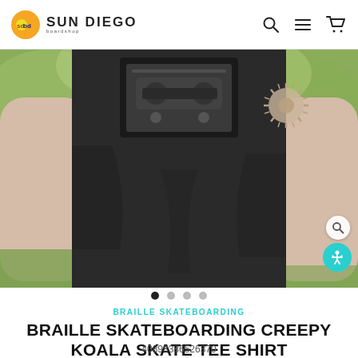SUN DIEGO boardshop
[Figure (photo): Person wearing a black Braille Skateboarding t-shirt with a graphic print, standing outdoors. A sun tattoo is visible on their upper right arm.]
BRAILLE SKATEBOARDING
BRAILLE SKATEBOARDING CREEPY KOALA SKATE TEE SHIRT
40898386526370